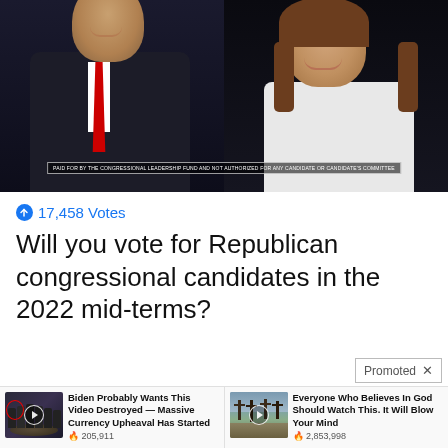[Figure (photo): Two politicians (man in dark suit with red tie on left, woman on right) against dark background, with disclaimer text overlay at bottom reading: PAID FOR BY THE CONGRESSIONAL LEADERSHIP FUND AND NOT AUTHORIZED FOR ANY CANDIDATE OR CANDIDATE'S COMMITTEE]
17,458 Votes
Will you vote for Republican congressional candidates in the 2022 mid-terms?
Promoted X
[Figure (photo): Video thumbnail showing group of men in suits in front of CIA seal, with red circle highlighting one person and play button overlay]
Biden Probably Wants This Video Destroyed — Massive Currency Upheaval Has Started
205,911
[Figure (photo): Video thumbnail showing graveyard with crosses in desert landscape under cloudy sky, with play button overlay]
Everyone Who Believes In God Should Watch This. It Will Blow Your Mind
2,853,998